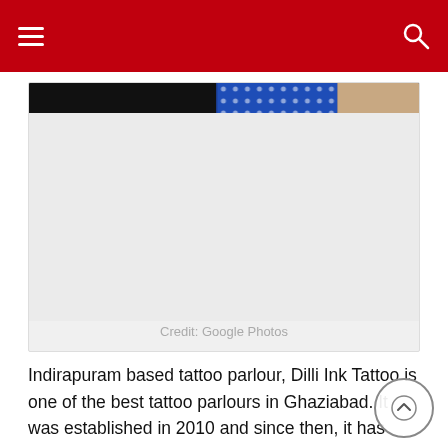Navigation bar with menu and search icons
[Figure (photo): Tattoo parlour image strip showing dark and blue patterned fabric backgrounds with a person partially visible. Caption: Credit: Google Photos]
Credit: Google Photos
Indirapuram based tattoo parlour, Dilli Ink Tattoo is one of the best tattoo parlours in Ghaziabad. It was established in 2010 and since then, it has made its name in the industry. Highly trained professionals with experience, tattoo artists that pay extra attention to the details. The tattoo artist is quite consultative and can even suggest ideas if you are